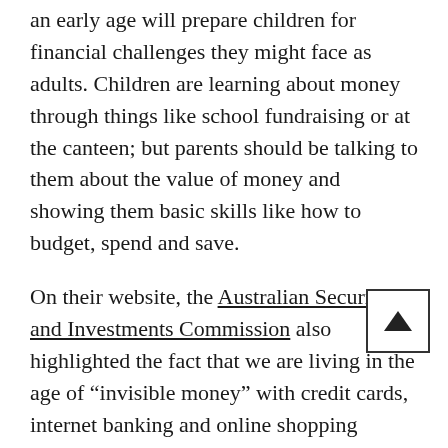an early age will prepare children for financial challenges they might face as adults. Children are learning about money through things like school fundraising or at the canteen; but parents should be talking to them about the value of money and showing them basic skills like how to budget, spend and save.
On their website, the Australian Securities and Investments Commission also highlighted the fact that we are living in the age of “invisible money” with credit cards, internet banking and online shopping replacing notes and coins. This makes it “harder for kids to get their heads around what things cost” and so modern parents need to help turn money from an abstract, limitless resource into something children can understand.
How to Start in Our Favour